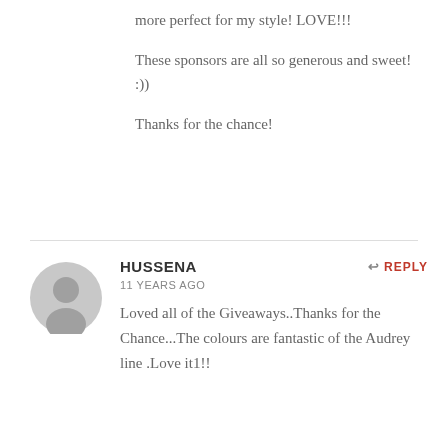more perfect for my style! LOVE!!!
These sponsors are all so generous and sweet! :))
Thanks for the chance!
HUSSENA
11 YEARS AGO
Loved all of the Giveaways..Thanks for the Chance...The colours are fantastic of the Audrey line .Love it1!!